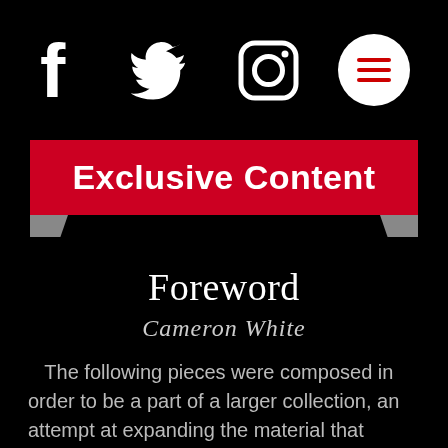[Figure (infographic): Social media icons: Facebook (f), Twitter (bird), Instagram (camera circle), and a white circular menu button with three red horizontal lines (hamburger menu icon)]
Exclusive Content
Foreword
Cameron White
The following pieces were composed in order to be a part of a larger collection, an attempt at expanding the material that Inscape publishes. These pieces were all written around Inscape, "the unique inner nature of a